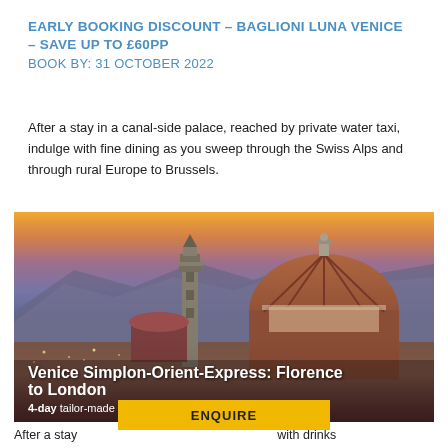EARLY BOOKING DISCOUNT - BAGLIONI LUNA VENICE – SAVE UP TO £60PP
BOOK BY: 31 OCTOBER 2022
After a stay in a canal-side palace, reached by private water taxi, indulge with fine dining as you sweep through the Swiss Alps and through rural Europe to Brussels.
[Figure (photo): Aerial view of Florence skyline at sunset/dusk showing the Florence Cathedral (Duomo) with its large red brick dome and Giotto's Campanile bell tower, with purple/blue mountains in background and city lights below. Overlay text reads 'Venice Simplon-Orient-Express: Florence to London' and '4-day tailor-made holiday from £4,110 pp incl. flights']
After a stay ... with drinks